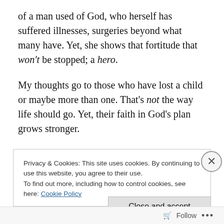of a man used of God, who herself has suffered illnesses, surgeries beyond what many have. Yet, she shows that fortitude that won't be stopped; a hero.
My thoughts go to those who have lost a child or maybe more than one. That's not the way life should go. Yet, their faith in God's plan grows stronger.
There are those of you who were living your “dream.” When that dream shattered, you picked up the pieces and with courage have gone forward.
Privacy & Cookies: This site uses cookies. By continuing to use this website, you agree to their use.
To find out more, including how to control cookies, see here: Cookie Policy
Close and accept
Follow ...